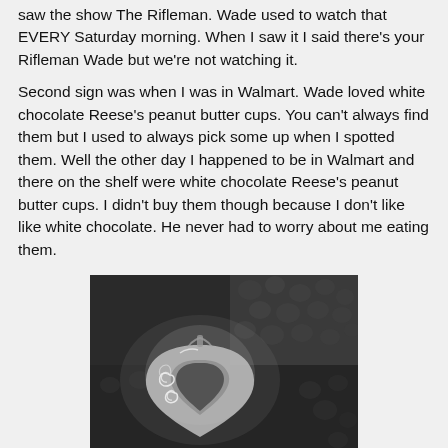saw the show The Rifleman. Wade used to watch that EVERY Saturday morning. When I saw it I said there's your Rifleman Wade but we're not watching it.
Second sign was when I was in Walmart. Wade loved white chocolate Reese's peanut butter cups. You can't always find them but I used to always pick some up when I spotted them. Well the other day I happened to be in Walmart and there on the shelf were white chocolate Reese's peanut butter cups. I didn't buy them though because I don't like like white chocolate. He never had to worry about me eating them.
[Figure (photo): Black and white photograph of a decorative heart-shaped pendant or charm with swirl/spiral designs, resting on a textured leather surface.]